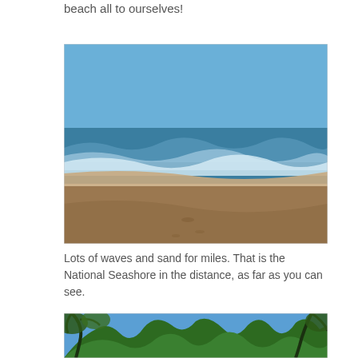beach all to ourselves!
[Figure (photo): A wide empty beach with waves rolling in, dark brown sand in the foreground, ocean with white-capped waves in the middle, and distant hills/land visible at the horizon under a clear blue sky.]
Lots of waves and sand for miles. That is the National Seashore in the distance, as far as you can see.
[Figure (photo): A view looking up through tree branches and foliage toward a bright blue sky, with green treetops visible against the blue.]